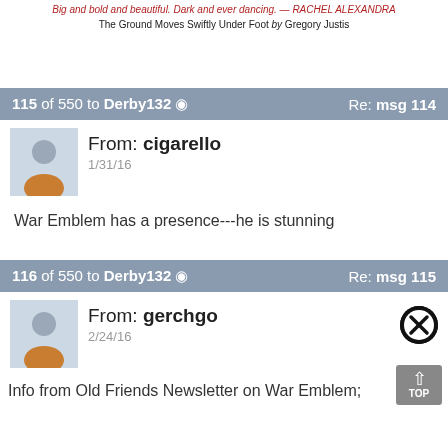Big and bold and beautiful. Dark and ever dancing. — RACHEL ALEXANDRA
The Ground Moves Swiftly Under Foot by Gregory Justis
115 of 550 to Derby132 ✓     Re: msg 114
From: cigarello
1/31/16
War Emblem has a presence---he is stunning
116 of 550 to Derby132 ✓     Re: msg 115
From: gerchgo
2/24/16
Info from Old Friends Newsletter on War Emblem;